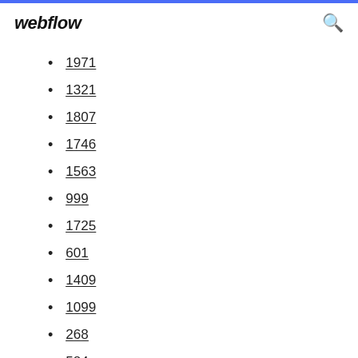webflow
1971
1321
1807
1746
1563
999
1725
601
1409
1099
268
584